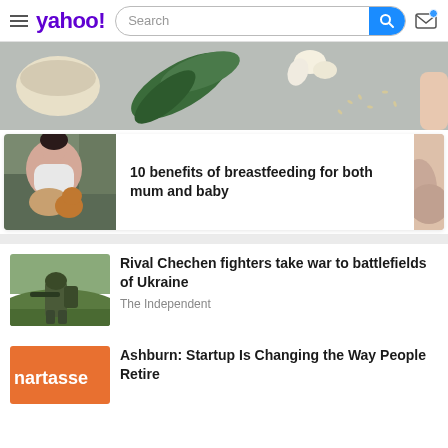yahoo! — Search bar and mail icon navigation
[Figure (photo): Banner photo showing spices, herbs, leaves, garlic and grains on grey surface]
[Figure (photo): Woman breastfeeding baby with dog nearby]
10 benefits of breastfeeding for both mum and baby
[Figure (photo): Partial photo of person on right side, cropped]
[Figure (photo): Soldier in military gear on grassy hill in Ukraine]
Rival Chechen fighters take war to battlefields of Ukraine
The Independent
[Figure (photo): SmartAsset advertisement logo/image]
Ashburn: Startup Is Changing the Way People Retire